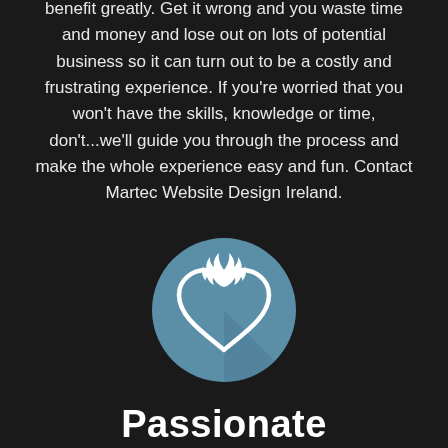benefit greatly. Get it wrong and you waste time and money and lose out on lots of potential business so it can turn out to be a costly and frustrating experience. If you're worried that you won't have the skills, knowledge or time, don't...we'll guide you through the process and make the whole experience easy and fun. Contact Martec Website Design Ireland.
[Figure (illustration): A blue circular icon containing a white heart with a flame above it, representing passion.]
Passionate
Ask any of our clients and they will tell you that Martec Website Design Ireland are passionate